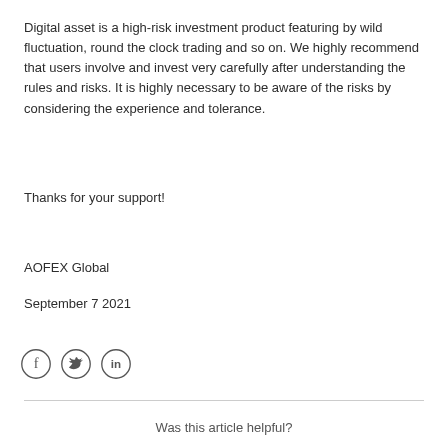Digital asset is a high-risk investment product featuring by wild fluctuation, round the clock trading and so on. We highly recommend that users involve and invest very carefully after understanding the rules and risks. It is highly necessary to be aware of the risks by considering the experience and tolerance.
Thanks for your support!
AOFEX Global
September 7 2021
[Figure (illustration): Three social media icons: Facebook (f), Twitter (bird), LinkedIn (in), each inside a circle outline]
Was this article helpful?